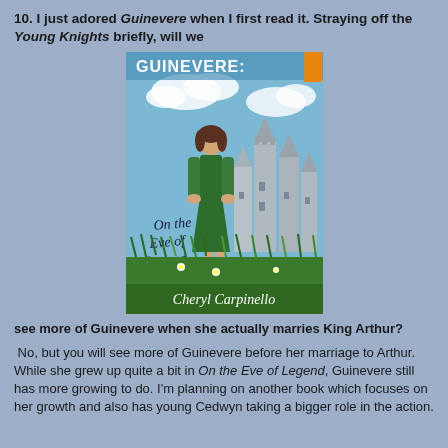10. I just adored Guinevere when I first read it. Straying off the Young Knights briefly, will we
[Figure (illustration): Book cover of 'Guinevere: On the Eve of Legend' by Cheryl Carpinello. Features an illustrated girl in a green dress standing before a castle, with grass and daisies in the foreground and clouds in the background.]
see more of Guinevere when she actually marries King Arthur?
No, but you will see more of Guinevere before her marriage to Arthur. While she grew up quite a bit in On the Eve of Legend, Guinevere still has more growing to do. I'm planning on another book which focuses on her growth and also has young Cedwyn taking a bigger role in the action.